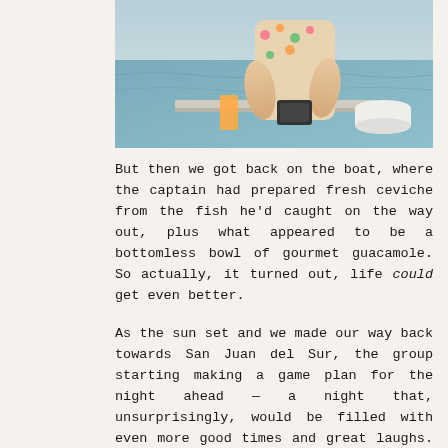[Figure (photo): A person on a boat, appearing to be engaged in some activity on the water. The image is cropped at the top and bottom, showing hands and colorful clothing.]
But then we got back on the boat, where the captain had prepared fresh ceviche from the fish he'd caught on the way out, plus what appeared to be a bottomless bowl of gourmet guacamole. So actually, it turned out, life could get even better.
As the sun set and we made our way back towards San Juan del Sur, the group starting making a game plan for the night ahead — a night that, unsurprisingly, would be filled with even more good times and great laughs. But me? I was quietly reflecting on the day behind us, confident it was one I'd remember for a very long time.